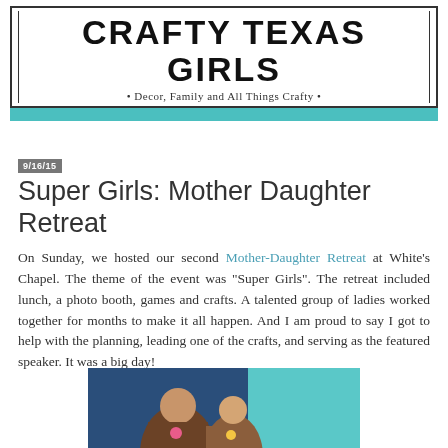CRAFTY TEXAS GIRLS • Decor, Family and All Things Crafty •
9/16/15
Super Girls: Mother Daughter Retreat
On Sunday, we hosted our second Mother-Daughter Retreat at White's Chapel. The theme of the event was "Super Girls". The retreat included lunch, a photo booth, games and crafts. A talented group of ladies worked together for months to make it all happen. And I am proud to say I got to help with the planning, leading one of the crafts, and serving as the featured speaker. It was a big day!
[Figure (photo): Photo showing two people at the Mother Daughter Retreat with a teal/turquoise background]